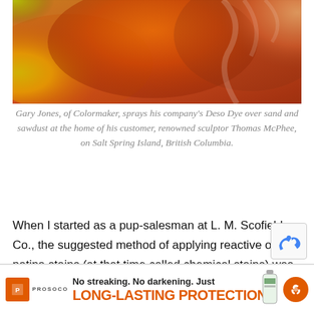[Figure (photo): Colorful photo showing sand and sawdust sprayed with Deso Dye, showing yellow, green, orange, and red colors over a textured surface.]
Gary Jones, of Colormaker, sprays his company's Deso Dye over sand and sawdust at the home of his customer, renowned sculptor Thomas McPhee, on Salt Spring Island, British Columbia.
When I started as a pup-salesman at L. M. Scofield Co., the suggested method of applying reactive or patina stains (at that time called chemical stains) was with a mop out of a bucket. This was kind of like performing brain surgery with a battle axe. And the results weren't surprising — a floor that appeared coarse and like it was blood-stained.
[Figure (logo): PROSOCO advertisement: orange square logo with PROSOCO text, tagline 'No streaking. No darkening. Just LONG-LASTING PROTECTION' with product bottle and orange circle icon.]